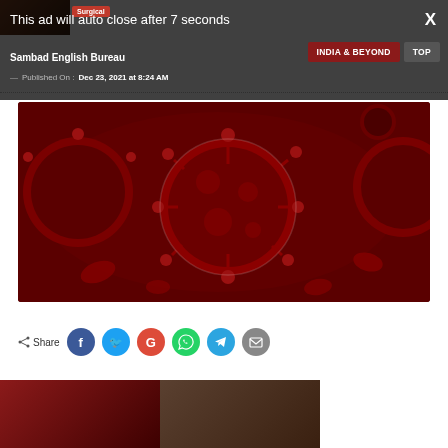This ad will auto close after 7 seconds
X
Sambad English Bureau
INDIA & BEYOND
TOP
— Published On : Dec 23, 2021 at 8:24 AM
[Figure (illustration): 3D rendered microscopic view of coronavirus particles with spike proteins on dark red background]
Share
[Figure (photo): Two thumbnail images at the bottom of the page]